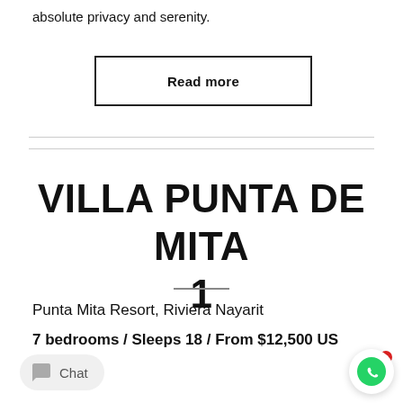absolute privacy and serenity.
Read more
VILLA PUNTA DE MITA 1
Punta Mita Resort, Riviera Nayarit
7 bedrooms / Sleeps 18 / From $12,500 US
Chat